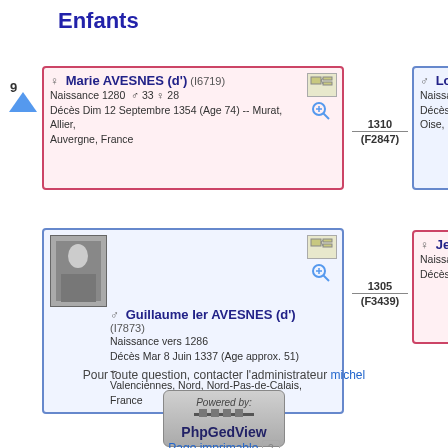Enfants
9
[Figure (infographic): Person card for Marie AVESNES (d') (I6719), female, Naissance 1280, 33 males 28 females, Décès Dim 12 Septembre 1354 (Age 74) -- Murat, Allier, Auvergne, France]
1310 (F2847)
[Figure (infographic): Partial person card for Louis Ier Le Gr..., male, Naissance vers 1272, Décès Ven 14 Février ..., Oise, Picardie, France]
[Figure (infographic): Person card for Guillaume Ier AVESNES (d') (I7873), male, Naissance vers 1286, Décès Mar 8 Juin 1337 (Age approx. 51) -- Valenciennes, Nord, Nord-Pas-de-Calais, France]
1305 (F3439)
[Figure (infographic): Partial person card for Jeanne VALOIS..., female, Naissance vers 1294, Décès 1342 (Age appr...)]
Pour toute question, contacter l'administrateur michel
[Figure (logo): Powered by: PhpGedView logo]
Page imprimable